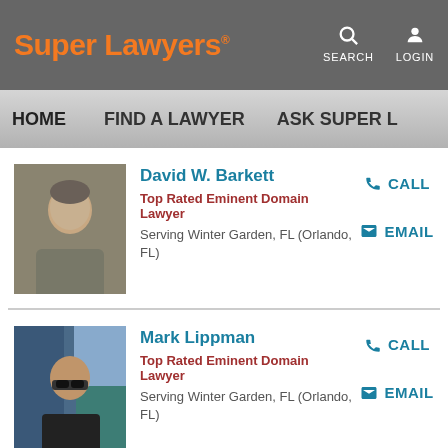Super Lawyers — SEARCH LOGIN — HOME | FIND A LAWYER | ASK SUPER L
[Figure (photo): Portrait photo of David W. Barkett, a man in a grey blazer seated]
David W. Barkett
Top Rated Eminent Domain Lawyer
Serving Winter Garden, FL (Orlando, FL)
CALL
EMAIL
[Figure (photo): Portrait photo of Mark Lippman, a man wearing sunglasses and a dark shirt, outdoors]
Mark Lippman
Top Rated Eminent Domain Lawyer
Serving Winter Garden, FL (Orlando, FL)
CALL
EMAIL